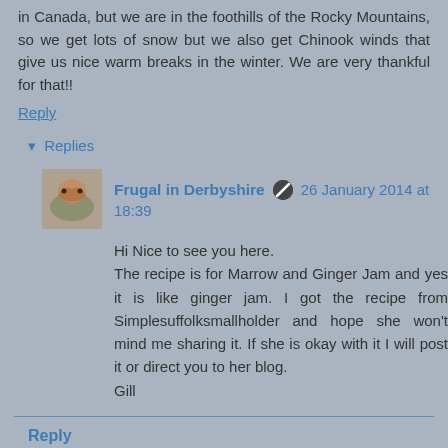in Canada, but we are in the foothills of the Rocky Mountains, so we get lots of snow but we also get Chinook winds that give us nice warm breaks in the winter. We are very thankful for that!!
Reply
▾ Replies
Frugal in Derbyshire  26 January 2014 at 18:39
Hi Nice to see you here.
The recipe is for Marrow and Ginger Jam and yes it is like ginger jam. I got the recipe from Simplesuffolksmallholder and hope she won't mind me sharing it. If she is okay with it I will post it or direct you to her blog.
Gill
Reply